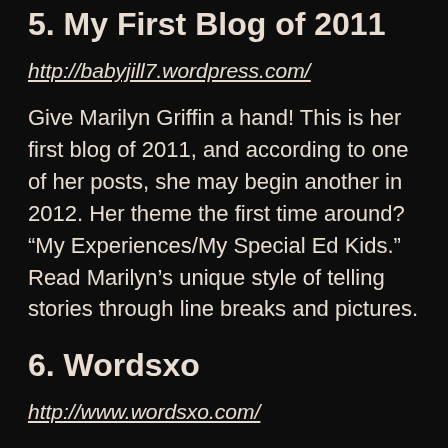5. My First Blog of 2011
http://babyjill7.wordpress.com/
Give Marilyn Griffin a hand! This is her first blog of 2011, and according to one of her posts, she may begin another in 2012. Her theme the first time around? “My Experiences/My Special Ed Kids.” Read Marilyn’s unique style of telling stories through line breaks and pictures.
6. Wordsxo
http://www.wordsxo.com/